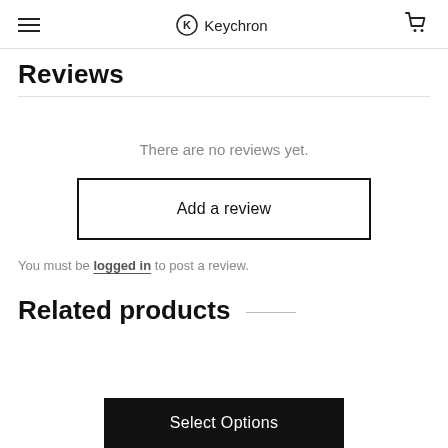Keychron
Reviews
There are no reviews yet.
Add a review
You must be logged in to post a review.
Related products
Select Options